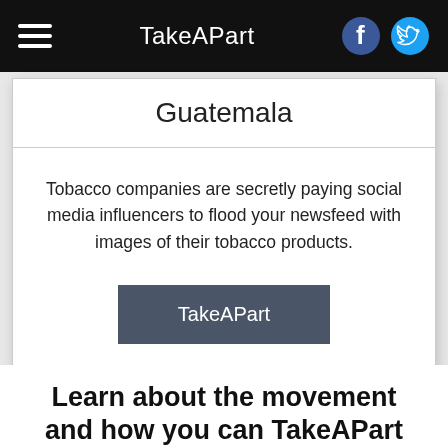TakeAPart
Guatemala
Tobacco companies are secretly paying social media influencers to flood your newsfeed with images of their tobacco products.
TakeAPart
Learn about the movement and how you can TakeAPart